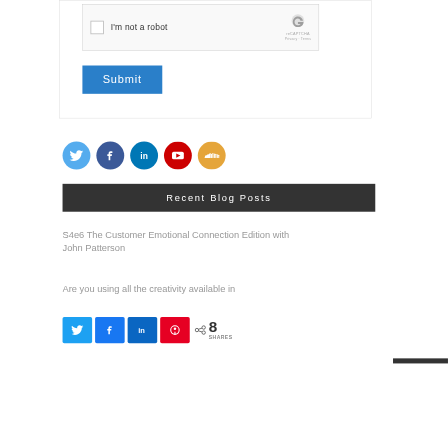[Figure (screenshot): reCAPTCHA widget with checkbox labeled 'I'm not a robot' and reCAPTCHA logo with Privacy and Terms links]
[Figure (screenshot): Blue Submit button]
[Figure (infographic): Row of five social media icon circles: Twitter (light blue), Facebook (dark blue), LinkedIn (blue), YouTube (red), SoundCloud (orange)]
Recent Blog Posts
S4e6 The Customer Emotional Connection Edition with John Patterson
Are you using all the creativity available in
[Figure (screenshot): Social share bar with Twitter, Facebook, LinkedIn, Pinterest buttons and share count showing 8 SHARES]